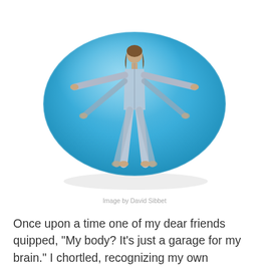[Figure (illustration): A stylized blue oval/pebble-shaped object with a Vitruvian Man figure in the center, arms outstretched, overlaid with yellow and white curved lines on a sky-blue background.]
Image by David Sibbet
Once upon a time one of my dear friends quipped, “My body? It’s just a garage for my brain.” I chortled, recognizing my own